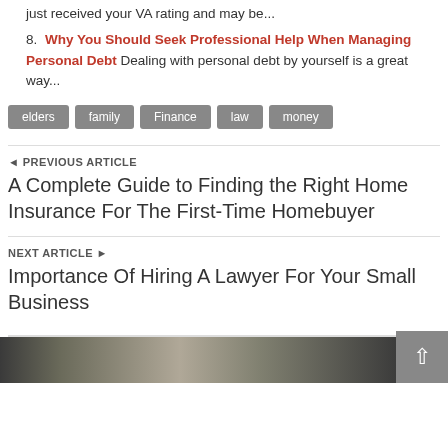just received your VA rating and may be...
8. Why You Should Seek Professional Help When Managing Personal Debt Dealing with personal debt by yourself is a great way...
elders
family
Finance
law
money
◄ PREVIOUS ARTICLE
A Complete Guide to Finding the Right Home Insurance For The First-Time Homebuyer
NEXT ARTICLE ►
Importance Of Hiring A Lawyer For Your Small Business
SIMILAR ARTICLES
[Figure (photo): Photo thumbnail at bottom of page showing a person in professional attire]